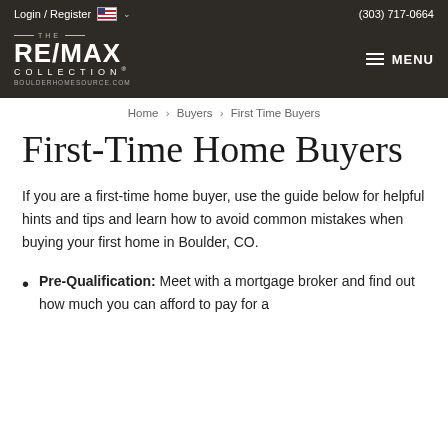Login / Register  (303) 717-0664
[Figure (logo): RE/MAX Collection logo with THE above and BOULDERHOMESOURCE.COM below, white text on dark brown background]
Home > Buyers > First Time Buyers
First-Time Home Buyers
If you are a first-time home buyer, use the guide below for helpful hints and tips and learn how to avoid common mistakes when buying your first home in Boulder, CO.
Pre-Qualification: Meet with a mortgage broker and find out how much you can afford to pay for a